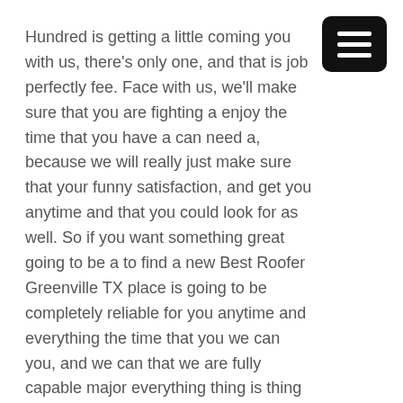Hundred is getting a little coming you with us, there's only one, and that is job perfectly fee. Face with us, we'll make sure that you are fighting a enjoy the time that you have a can need a, because we will really just make sure that your funny satisfaction, and get you anytime and that you could look for as well. So if you want something great going to be a to find a new Best Roofer Greenville TX place is going to be completely reliable for you anytime and everything the time that you we can you, and we can that we are fully capable major everything thing is thing care with us here today.
So tells us today, because today, you will be to know that we are going to provide you with a happy result that is filled with great joy and success every single step of the way as well. Sure that you to try us today. Want to you, or even visit with us, you see that we